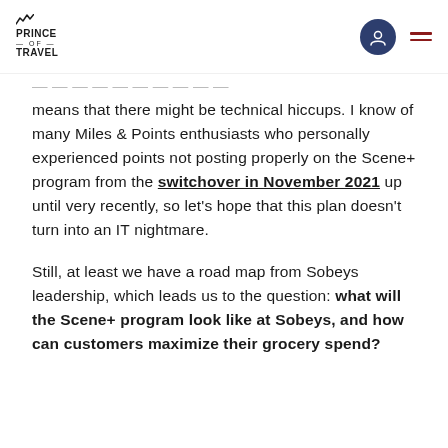PRINCE OF TRAVEL
means that there might be technical hiccups. I know of many Miles & Points enthusiasts who personally experienced points not posting properly on the Scene+ program from the switchover in November 2021 up until very recently, so let's hope that this plan doesn't turn into an IT nightmare.

Still, at least we have a road map from Sobeys leadership, which leads us to the question: what will the Scene+ program look like at Sobeys, and how can customers maximize their grocery spend?